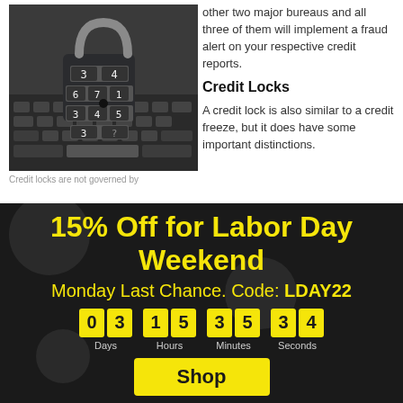[Figure (photo): A combination padlock with number dials (showing 3,4 on top row, 6,7,1 on second row, 3,4,5 on third row, 3,? on bottom) resting on a laptop keyboard, dark background.]
Credit locks are not governed by
other two major bureaus and all three of them will implement a fraud alert on your respective credit reports.
Credit Locks
A credit lock is also similar to a credit freeze, but it does have some important distinctions.
15% Off for Labor Day Weekend
Monday Last Chance. Code: LDAY22
03 Days 15 Hours 35 Minutes 34 Seconds
Shop